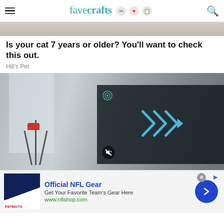favecrafts
[Figure (photo): Top cropped image strip of a light-colored background scene]
Is your cat 7 years or older? You'll want to check this out.
Hill's Pet
[Figure (screenshot): Photo of a room interior with a person crafting at a table; overlaid with a dark video player interface showing play arrows and a mute icon]
[Figure (infographic): Advertisement banner: Official NFL Gear – Get Your Favorite Team's Gear Here – www.nflshop.com, with NFL jersey image and blue arrow button]